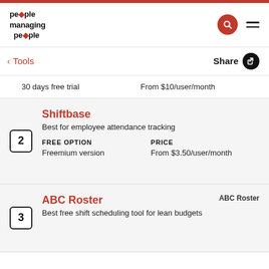people managing people
< Tools    Share
30 days free trial    From $10/user/month
Shiftbase
Best for employee attendance tracking
FREE OPTION: Freemium version    PRICE: From $3.50/user/month
ABC Roster
Best free shift scheduling tool for lean budgets